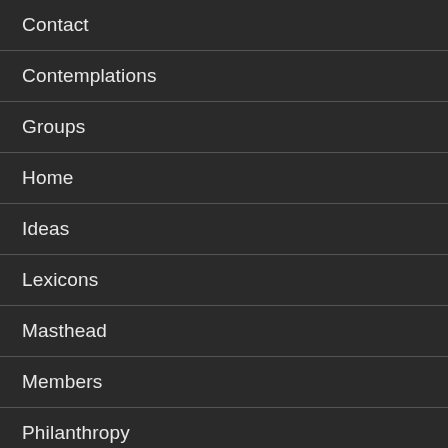Contact
Contemplations
Groups
Home
Ideas
Lexicons
Masthead
Members
Philanthropy